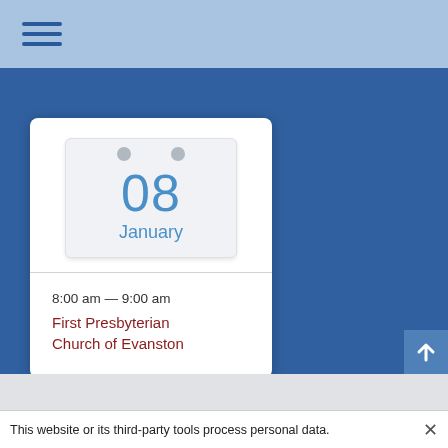≡ (hamburger menu icon)
[Figure (illustration): Calendar icon showing date 08 January with two ring binders at top, day number in blue, month in blue text below]
8:00 am — 9:00 am
First Presbyterian Church of Evanston
[Figure (illustration): Up arrow scroll-to-top button in blue square]
This website or its third-party tools process personal data.